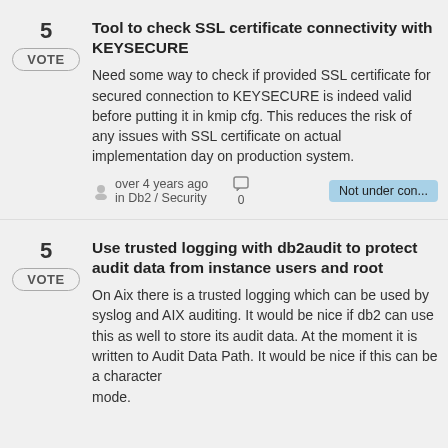Tool to check SSL certificate connectivity with KEYSECURE
Need some way to check if provided SSL certificate for secured connection to KEYSECURE is indeed valid before putting it in kmip cfg. This reduces the risk of any issues with SSL certificate on actual implementation day on production system.
over 4 years ago in Db2 / Security · 0 · Not under con...
Use trusted logging with db2audit to protect audit data from instance users and root
On Aix there is a trusted logging which can be used by syslog and AIX auditing. It would be nice if db2 can use this as well to store its audit data. At the moment it is written to Audit Data Path. It would be nice if this can be a character mode.